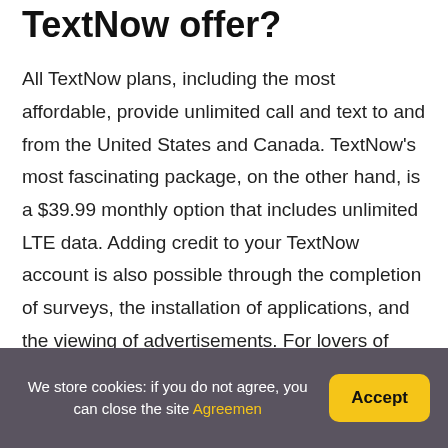TextNow offer?
All TextNow plans, including the most affordable, provide unlimited call and text to and from the United States and Canada. TextNow's most fascinating package, on the other hand, is a $39.99 monthly option that includes unlimited LTE data. Adding credit to your TextNow account is also possible through the completion of surveys, the installation of applications, and the viewing of advertisements. For lovers of free-to-play mobile games, this is a tactic that will be quite familiar to them. Offers might range from installing an app to joining up for a service, and you'll get varied
We store cookies: if you do not agree, you can close the site Agreemen